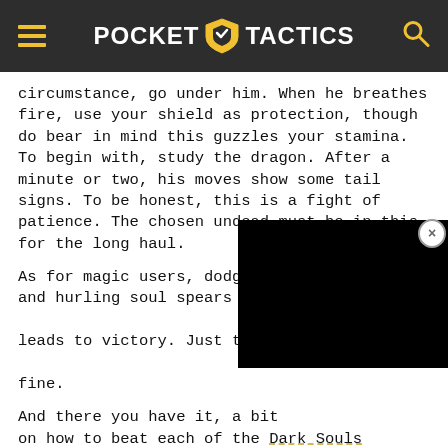POCKET TACTICS
circumstance, go under him. When he breathes fire, use your shield as protection, though do bear in mind this guzzles your stamina. To begin with, study the dragon. After a minute or two, his moves show some tail signs. To be honest, this is a fight of patience. The chosen undead must be in this for the long haul.
As for magic users, dodging out of his range and hurling soul spears or crystal soul spears easily leads to victory. Just time your dodges and you'll be fine.
And there you have it, a bit of a guide on how to beat each of the Dark Souls bosses. If you're ready for a new adventure, you can take a look at our picks for the best Switch RPGs and best Switch platformers here.
[Figure (screenshot): Black video overlay rectangle covering part of the article text]